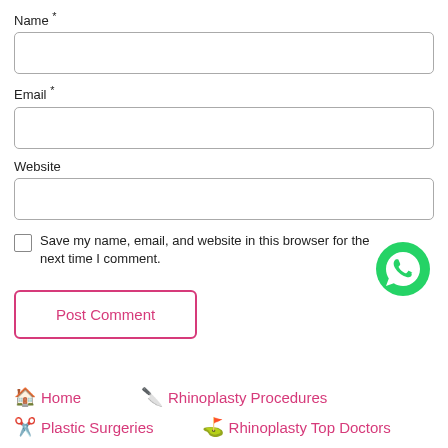Name *
Email *
Website
Save my name, email, and website in this browser for the next time I comment.
Post Comment
🏠 Home
🔪 Rhinoplasty Procedures
✂️ Plastic Surgeries
⛳ Rhinoplasty Top Doctors